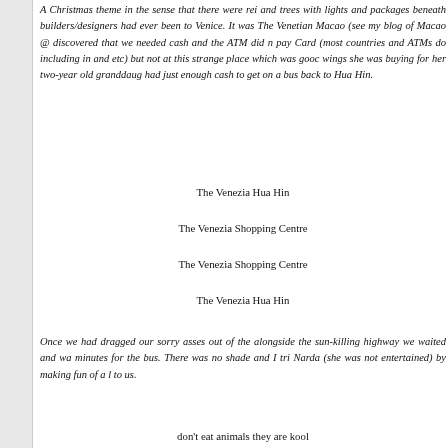A Christmas theme in the sense that there were rei and trees with lights and packages beneath builders/designers had ever been to Venice. It was The Venetian Macao (see my blog of Macao @ discovered that we needed cash and the ATM did n pay Card (most countries and ATMs do including in and etc) but not at this strange place which was goo wings she was buying for her two-year old granddaug had just enough cash to get on a bus back to Hua Hin
The Venezia Hua Hin
The Venezia Shopping Centre
The Venezia Shopping Centre
The Venezia Hua Hin
Once we had dragged our sorry asses out of the alongside the sun-killing highway we waited and wa minutes for the bus. There was no shade and I tri Narda (she was not entertained) by making fun of a l to us.
don't eat animals they are kool
Not to worry we got home had dinner at 'I Rice' and Narda talked about retirement and I checked out the